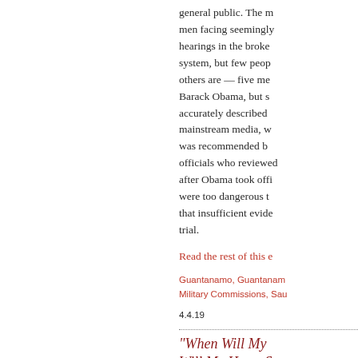general public. The men facing seemingly endless hearings in the broken system, but few people know who others are — five men cleared by Barack Obama, but still accurately described as by the mainstream media, whose release was recommended by the officials who reviewed their cases after Obama took office, but who were too dangerous to release and that insufficient evidence trial.
Read the rest of this e
Guantanamo, Guantanamo Military Commissions, Sau 4.4.19
"When Will My Will My Heart S